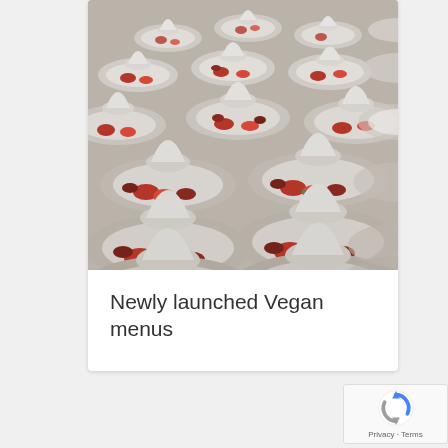[Figure (photo): Many white plates with pavlova meringue desserts topped with fresh strawberries, arranged in rows on a table at a large catering event]
Newly launched Vegan menus
[Figure (other): Google reCAPTCHA badge showing the reCAPTCHA logo with Privacy and Terms links]